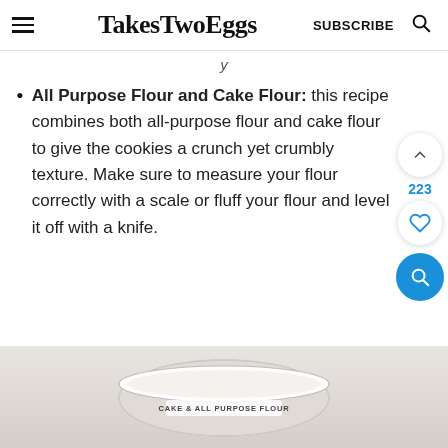TakesTwoEggs  SUBSCRIBE
y
All Purpose Flour and Cake Flour: this recipe combines both all-purpose flour and cake flour to give the cookies a crunch yet crumbly texture. Make sure to measure your flour correctly with a scale or fluff your flour and level it off with a knife.
[Figure (photo): Photo of a bowl containing cake and all purpose flour, with a label reading CAKE & ALL PURPOSE FLOUR]